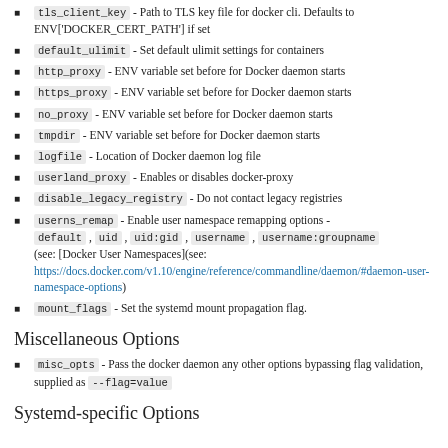tls_client_key - Path to TLS key file for docker cli. Defaults to ENV['DOCKER_CERT_PATH'] if set
default_ulimit - Set default ulimit settings for containers
http_proxy - ENV variable set before for Docker daemon starts
https_proxy - ENV variable set before for Docker daemon starts
no_proxy - ENV variable set before for Docker daemon starts
tmpdir - ENV variable set before for Docker daemon starts
logfile - Location of Docker daemon log file
userland_proxy - Enables or disables docker-proxy
disable_legacy_registry - Do not contact legacy registries
userns_remap - Enable user namespace remapping options - default , uid , uid:gid , username , username:groupname (see: [Docker User Namespaces](see: https://docs.docker.com/v1.10/engine/reference/commandline/daemon/#daemon-user-namespace-options)
mount_flags - Set the systemd mount propagation flag.
Miscellaneous Options
misc_opts - Pass the docker daemon any other options bypassing flag validation, supplied as --flag=value
Systemd-specific Options